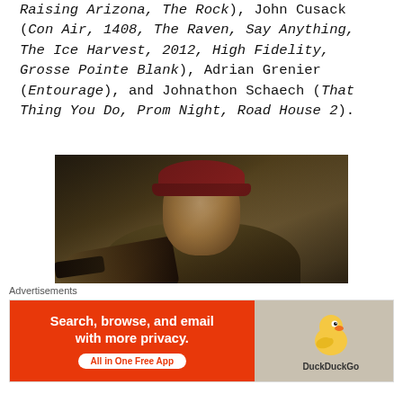Raising Arizona, The Rock), John Cusack (Con Air, 1408, The Raven, Say Anything, The Ice Harvest, 2012, High Fidelity, Grosse Pointe Blank), Adrian Grenier (Entourage), and Johnathon Schaech (That Thing You Do, Prom Night, Road House 2).
[Figure (photo): A man in a red cap and olive/brown jacket pointing what appears to be a gun toward the camera in a dramatic cinematic still.]
The cinematographer for the film was Brandon Cox, who additionally shot the films Heist...
Advertisements
[Figure (other): DuckDuckGo advertisement banner: 'Search, browse, and email with more privacy. All in One Free App' with DuckDuckGo duck logo on orange and gray background.]